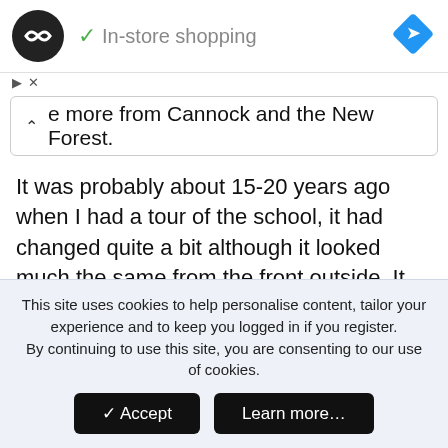[Figure (screenshot): Ad bar with circular logo, 'In-store shopping' text with green checkmark, and blue navigation diamond icon on the right]
e more from Cannock and the New Forest.
It was probably about 15-20 years ago when I had a tour of the school, it had changed quite a bit although it looked much the same from the front outside. It had a new modern gym with coffee bar! I heard that a lot of the sports ground at the back had been sold off for new housing
This site uses cookies to help personalise content, tailor your experience and to keep you logged in if you register.
By continuing to use this site, you are consenting to our use of cookies.